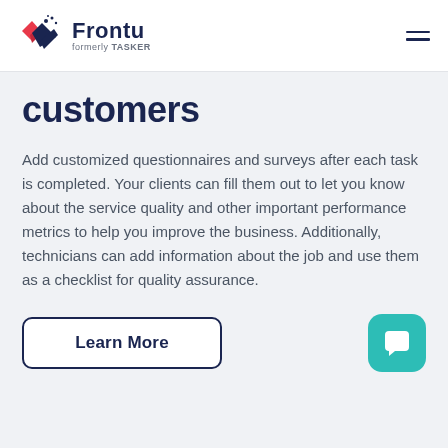[Figure (logo): Frontu logo (formerly TASKER) with red and navy checkmark icon]
customers
Add customized questionnaires and surveys after each task is completed. Your clients can fill them out to let you know about the service quality and other important performance metrics to help you improve the business. Additionally, technicians can add information about the job and use them as a checklist for quality assurance.
Learn More